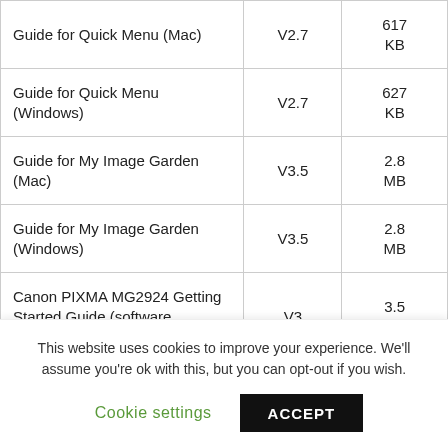| Guide for Quick Menu (Mac) | V2.7 | 617 KB |
| Guide for Quick Menu (Windows) | V2.7 | 627 KB |
| Guide for My Image Garden (Mac) | V3.5 | 2.8 MB |
| Guide for My Image Garden (Windows) | V3.5 | 2.8 MB |
| Canon PIXMA MG2924 Getting Started Guide (software installation ... | V3 | 3.5 MB |
This website uses cookies to improve your experience. We'll assume you're ok with this, but you can opt-out if you wish.
Cookie settings   ACCEPT